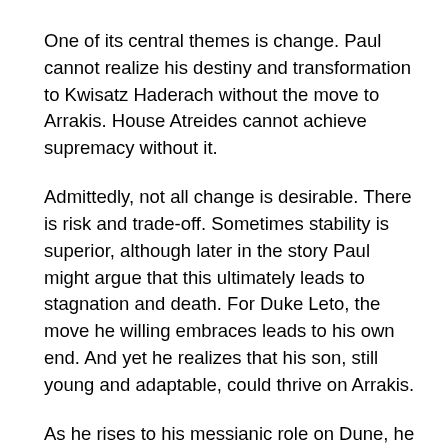One of its central themes is change. Paul cannot realize his destiny and transformation to Kwisatz Haderach without the move to Arrakis. House Atreides cannot achieve supremacy without it.
Admittedly, not all change is desirable. There is risk and trade-off. Sometimes stability is superior, although later in the story Paul might argue that this ultimately leads to stagnation and death. For Duke Leto, the move he willing embraces leads to his own end. And yet he realizes that his son, still young and adaptable, could thrive on Arrakis.
As he rises to his messianic role on Dune, he laments the change he sees in his friends as they become disciples and creatures.
An important element here is the focus on adaptation; on flexing and adjusting to survive and grow as a response to change. We spend a notable amount of time with Keynes, hearing about how desert life, both animal and man, have